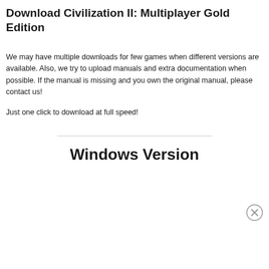Download Civilization II: Multiplayer Gold Edition
We may have multiple downloads for few games when different versions are available. Also, we try to upload manuals and extra documentation when possible. If the manual is missing and you own the original manual, please contact us!
Just one click to download at full speed!
Windows Version
[Figure (other): Close/dismiss button (circle with X)]